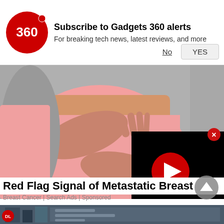[Figure (screenshot): Gadgets 360 notification subscription banner with red circular logo showing '360', bold text 'Subscribe to Gadgets 360 alerts', subtitle 'For breaking tech news, latest reviews, and more', with 'No' and 'YES' buttons]
[Figure (photo): Woman in pink long-sleeve top holding her chest/breast area with both hands, against grey background. Advertisement for Metastatic Breast Cancer awareness.]
[Figure (screenshot): Black video player overlay with red circular play button in the center, overlaid on the bottom-right of the main image]
Red Flag Signal of Metastatic Breast...
Breast Cancer | Search Ads | Sponsored
[Figure (screenshot): Bottom partial strip showing what appears to be another article/ad image, partially visible at the bottom of the page]